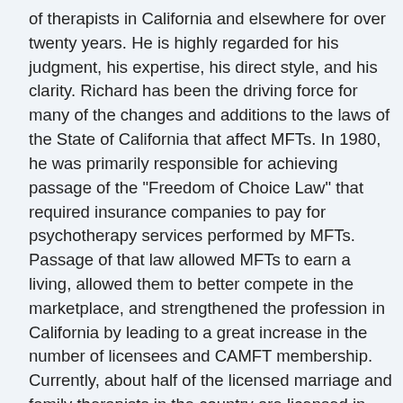of therapists in California and elsewhere for over twenty years. He is highly regarded for his judgment, his expertise, his direct style, and his clarity. Richard has been the driving force for many of the changes and additions to the laws of the State of California that affect MFTs. In 1980, he was primarily responsible for achieving passage of the "Freedom of Choice Law" that required insurance companies to pay for psychotherapy services performed by MFTs. Passage of that law allowed MFTs to earn a living, allowed them to better compete in the marketplace, and strengthened the profession in California by leading to a great increase in the number of licensees and CAMFT membership. Currently, about half of the licensed marriage and family therapists in the country are licensed in California. While at CAMFT, Richard was primarily responsible for, among other things, the successful effort to criminalize sex between a patient and a therapist. He was successful in extending the laws of psychotherapist-patient privilege to MFTs, thereby giving patients the same level of privacy protection as when seeing a psychiatrist